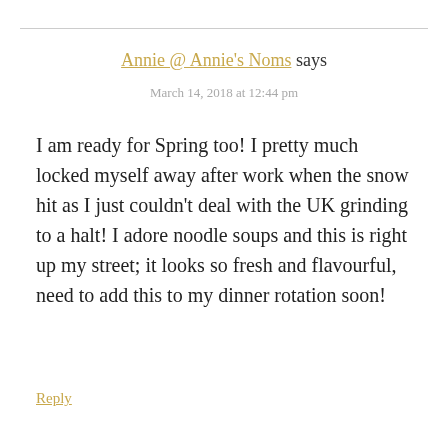Annie @ Annie's Noms says
March 14, 2018 at 12:44 pm
I am ready for Spring too! I pretty much locked myself away after work when the snow hit as I just couldn't deal with the UK grinding to a halt! I adore noodle soups and this is right up my street; it looks so fresh and flavourful, need to add this to my dinner rotation soon!
Reply